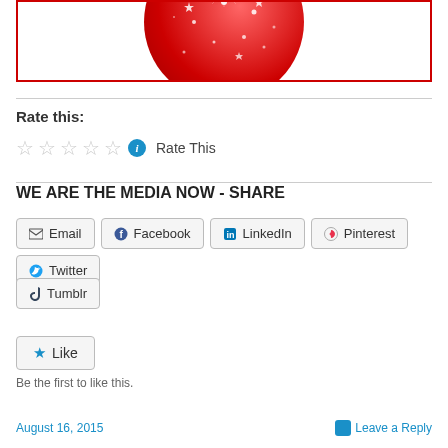[Figure (illustration): Bottom portion of a red glittery/sparkly circular ornament or ball with white sparkle/star effects on red background, shown cropped at top inside a red-bordered box]
Rate this:
☆☆☆☆☆ ⓘ Rate This
WE ARE THE MEDIA NOW - SHARE
Email  Facebook  LinkedIn  Pinterest  Twitter  Tumblr
Like
Be the first to like this.
August 16, 2015  Leave a Reply